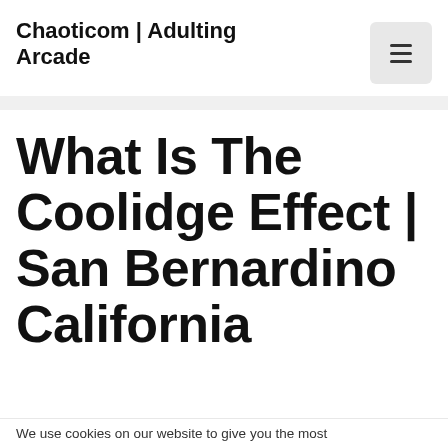Chaoticom | Adulting Arcade
What Is The Coolidge Effect | San Bernardino California
We use cookies on our website to give you the most